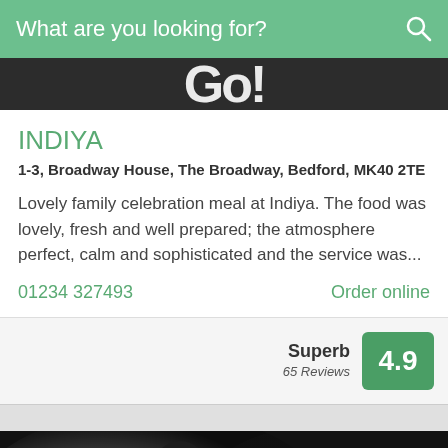What are you looking for?
[Figure (logo): Dark banner with restaurant/brand logo text partially visible]
INDIYA
1-3, Broadway House, The Broadway, Bedford, MK40 2TE
Lovely family celebration meal at Indiya. The food was lovely, fresh and well prepared; the atmosphere perfect, calm and sophisticated and the service was...
01234 327493
Order online
Superb 65 Reviews 4.9
[Figure (photo): Black and white photo of a person in dark clothing, head bowed, holding something white, close-up shot]